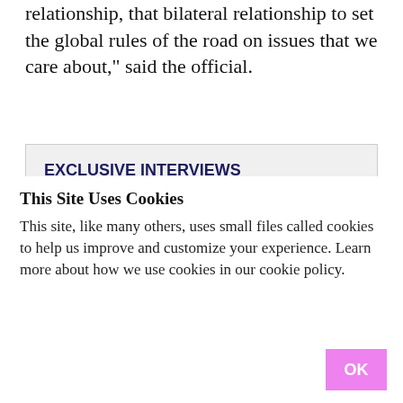relationship, that bilateral relationship to set the global rules of the road on issues that we care about," said the official.
EXCLUSIVE INTERVIEWS
[Figure (photo): Partially visible photograph below the EXCLUSIVE INTERVIEWS heading, showing a dark gradient image.]
This Site Uses Cookies
This site, like many others, uses small files called cookies to help us improve and customize your experience. Learn more about how we use cookies in our cookie policy.